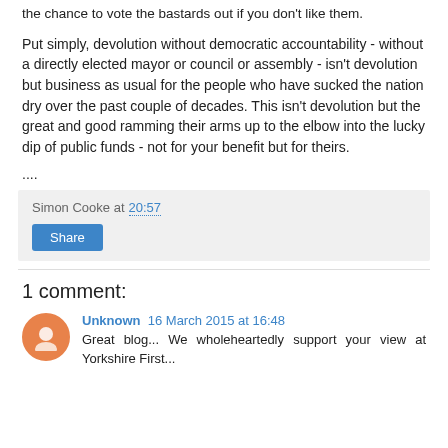the chance to vote the bastards out if you don't like them.
Put simply, devolution without democratic accountability - without a directly elected mayor or council or assembly - isn't devolution but business as usual for the people who have sucked the nation dry over the past couple of decades. This isn't devolution but the great and good ramming their arms up to the elbow into the lucky dip of public funds - not for your benefit but for theirs.
....
Simon Cooke at 20:57
Share
1 comment:
Unknown 16 March 2015 at 16:48
Great blog... We wholeheartedly support your view at Yorkshire First...